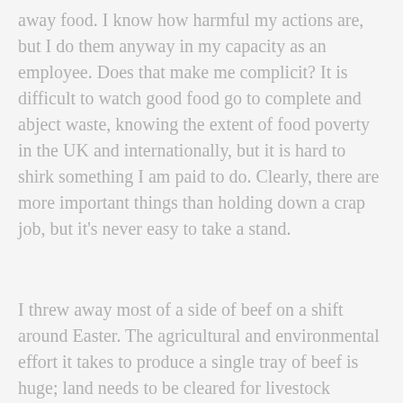away food. I know how harmful my actions are, but I do them anyway in my capacity as an employee. Does that make me complicit? It is difficult to watch good food go to complete and abject waste, knowing the extent of food poverty in the UK and internationally, but it is hard to shirk something I am paid to do. Clearly, there are more important things than holding down a crap job, but it's never easy to take a stand.
I threw away most of a side of beef on a shift around Easter. The agricultural and environmental effort it takes to produce a single tray of beef is huge; land needs to be cleared for livestock